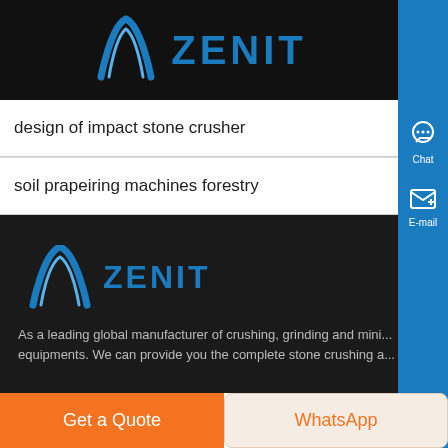[Figure (logo): Zenit company logo with blue arch symbol and ZENIT text in blue on black background]
design of impact stone crusher
soil prapeiring machines forestry
[Figure (logo): Zenit company logo repeated on dark footer background]
As a leading global manufacturer of crushing, grinding and mini... equipments. We can provide you the complete stone crushing a...
Get a Quote
WhatsApp